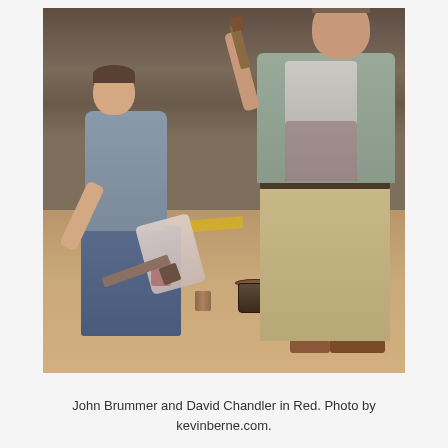[Figure (photo): Two men on a theatre stage. One man is kneeling on the floor holding a large knife and a bloody cloth, with paint cans and a bucket nearby. The other man is standing, wearing khaki pants and a grey cardigan, holding a paint brush. The background is a dark, grungy wall typical of a theatre set.]
John Brummer and David Chandler in Red. Photo by kevinberne.com.